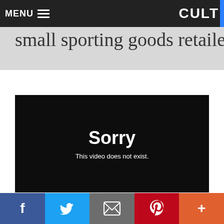MENU  CULT
create a fearless brand from a once small sporting goods retailer
[Figure (screenshot): Black video player error screen showing 'Sorry — This video does not exist.']
[Figure (infographic): Social share bar with Facebook, Twitter, Email, Pinterest, and More buttons]